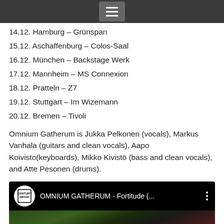[Navigation menu bar]
14.12. Hamburg – Grünspan
15.12. Aschaffenburg – Colos-Saal
16.12. München – Backstage Werk
17.12. Mannheim – MS Connexion
18.12. Pratteln – Z7
19.12. Stuttgart – Im Wizemann
20.12. Bremen – Tivoli
Omnium Gatherum is Jukka Pelkonen (vocals), Markus Vanhala (guitars and clean vocals), Aapo Koivisto(keyboards), Mikko Kivistö (bass and clean vocals), and Atte Pesonen (drums).
[Figure (screenshot): YouTube video thumbnail for OMNIUM GATHERUM - Fortitude (... with Century Media logo]